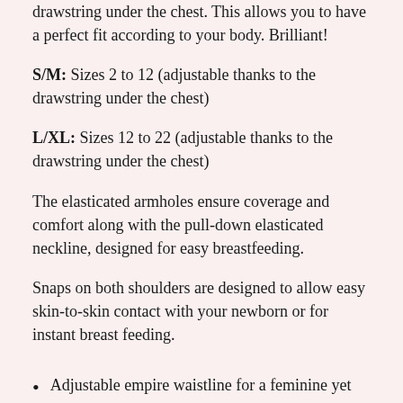drawstring under the chest. This allows you to have a perfect fit according to your body. Brilliant!
S/M: Sizes 2 to 12 (adjustable thanks to the drawstring under the chest)
L/XL: Sizes 12 to 22 (adjustable thanks to the drawstring under the chest)
The elasticated armholes ensure coverage and comfort along with the pull-down elasticated neckline, designed for easy breastfeeding.
Snaps on both shoulders are designed to allow easy skin-to-skin contact with your newborn or for instant breast feeding.
Adjustable empire waistline for a feminine yet